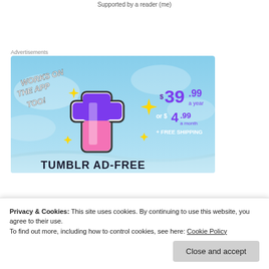Supported by a reader (me)
Advertisements
[Figure (illustration): Tumblr Ad-Free promotion banner showing the Tumblr logo with sparkles on a blue sky background, advertising $39.99 a year or $4.99 a month + FREE SHIPPING, with text 'WORKS ON THE APP TOO!' and 'TUMBLR AD-FREE' at the bottom]
Privacy & Cookies: This site uses cookies. By continuing to use this website, you agree to their use.
To find out more, including how to control cookies, see here: Cookie Policy
Close and accept